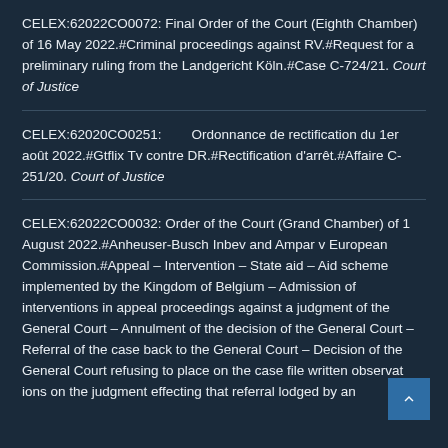CELEX:62022CO0072: Final Order of the Court (Eighth Chamber) of 16 May 2022.#Criminal proceedings against RV.#Request for a preliminary ruling from the Landgericht Köln.#Case C-724/21. Court of Justice
CELEX:62020CO0251: Ordonnance de rectification du 1er août 2022.#Gtflix Tv contre DR.#Rectification d'arrêt.#Affaire C-251/20. Court of Justice
CELEX:62022CO0032: Order of the Court (Grand Chamber) of 1 August 2022.#Anheuser-Busch Inbev and Ampar v European Commission.#Appeal – Intervention – State aid – Aid scheme implemented by the Kingdom of Belgium – Admission of interventions in appeal proceedings against a judgment of the General Court – Annulment of the decision of the General Court – Referral of the case back to the General Court – Decision of the General Court refusing to place on the case file written observations on the judgment effecting that referral lodged by an